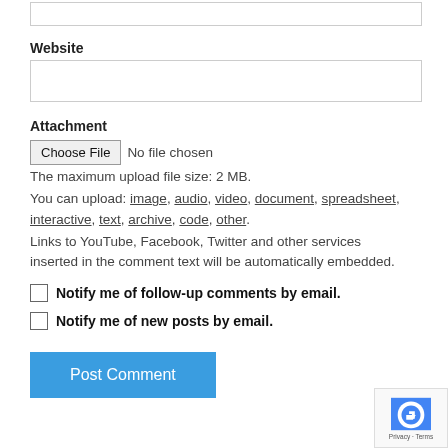[Figure (screenshot): A text input box (Website field input area) at the top of the page]
Website
[Figure (screenshot): Website URL input text box]
Attachment
Choose File  No file chosen
The maximum upload file size: 2 MB.
You can upload: image, audio, video, document, spreadsheet, interactive, text, archive, code, other.
Links to YouTube, Facebook, Twitter and other services inserted in the comment text will be automatically embedded.
Notify me of follow-up comments by email.
Notify me of new posts by email.
Post Comment
[Figure (logo): reCAPTCHA badge with Privacy and Terms links]